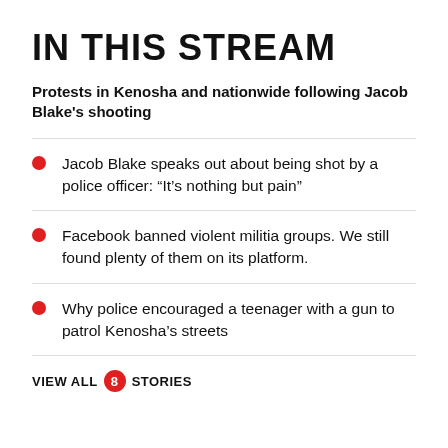IN THIS STREAM
Protests in Kenosha and nationwide following Jacob Blake's shooting
Jacob Blake speaks out about being shot by a police officer: “It’s nothing but pain”
Facebook banned violent militia groups. We still found plenty of them on its platform.
Why police encouraged a teenager with a gun to patrol Kenosha’s streets
VIEW ALL 8 STORIES